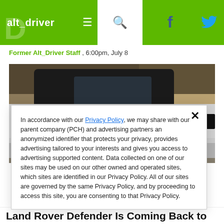alt_driver
Former Alt_Driver Staff , 6:00pm, July 8
[Figure (photo): Camouflaged Land Rover Defender prototype SUV being tested on a road, with blurred background showing foliage.]
In accordance with our Privacy Policy, we may share with our parent company (PCH) and advertising partners an anonymized identifier that protects your privacy, provides advertising tailored to your interests and gives you access to advertising supported content. Data collected on one of our sites may be used on our other owned and operated sites, which sites are identified in our Privacy Policy. All of our sites are governed by the same Privacy Policy, and by proceeding to access this site, you are consenting to that Privacy Policy.
Land Rover Defender Is Coming Back to